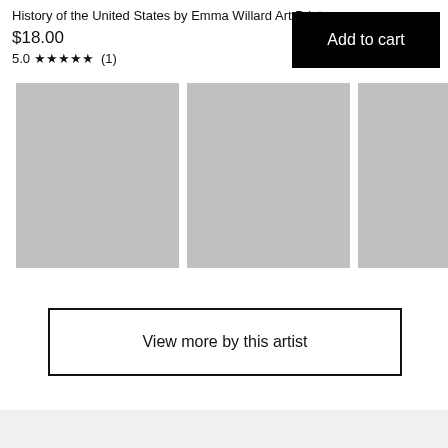History of the United States by Emma Willard Art Print
$18.00
5.0 ★★★★★ (1)
Add to cart
[Figure (photo): Three gray placeholder image thumbnails arranged horizontally]
View more by this artist